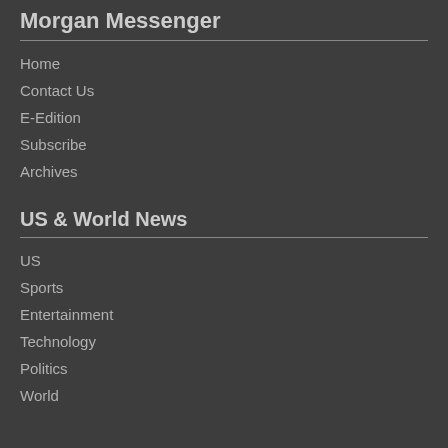Morgan Messenger
Home
Contact Us
E-Edition
Subscribe
Archives
US & World News
US
Sports
Entertainment
Technology
Politics
World